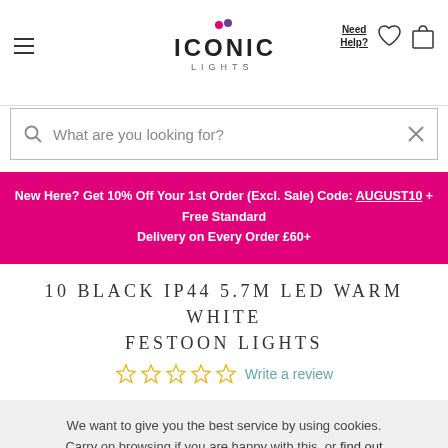[Figure (logo): Iconic Lights logo with colorful dots above the I, text ICONIC LIGHTS with LIGHTS in small caps below]
Need Help?
What are you looking for?
New Here? Get 10% Off Your 1st Order (Excl. Sale) Code: AUGUST10 + Free Standard Delivery on Every Order £60+
10 BLACK IP44 5.7M LED WARM WHITE FESTOON LIGHTS
Write a review
We want to give you the best service by using cookies. Carry on browsing if you are happy with this, or find out how to manage your cookies.
ALLOW COOKIES